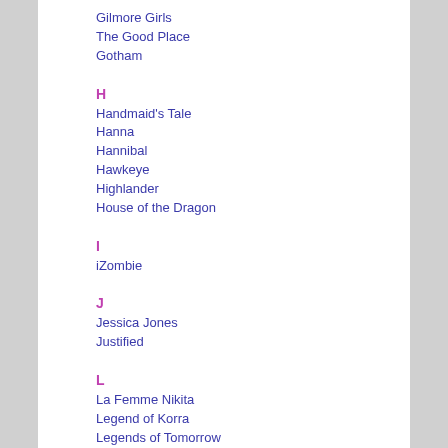Gilmore Girls
The Good Place
Gotham
H
Handmaid's Tale
Hanna
Hannibal
Hawkeye
Highlander
House of the Dragon
I
iZombie
J
Jessica Jones
Justified
L
La Femme Nikita
Legend of Korra
Legends of Tomorrow
Loki
Lost